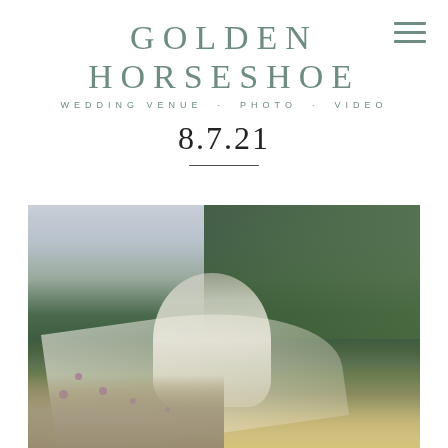GOLDEN HORSESHOE
WEDDING VENUE · PHOTO · VIDEO
8.7.21
[Figure (photo): A bride in a flowing white floral dress standing on a rocky outcrop outdoors, smiling and holding a bouquet, with her long veil billowing in the wind. Lush green trees and a misty mountain landscape form the background, with wild grasses and purple wildflowers in the foreground.]